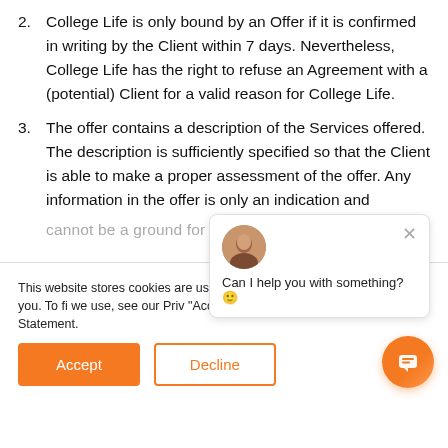2. College Life is only bound by an Offer if it is confirmed in writing by the Client within 7 days. Nevertheless, College Life has the right to refuse an Agreement with a (potential) Client for a valid reason for College Life.
3. The offer contains a description of the Services offered. The description is sufficiently specified so that the Client is able to make a proper assessment of the offer. Any information in the offer is only an indication and cannot be a ground for any compensation or
This website stores cookies are used to you interact with our remember you. To fi we use, see our Priv "Accept," you agree with our Cookie Statement.
Can I help you with something? 🙂